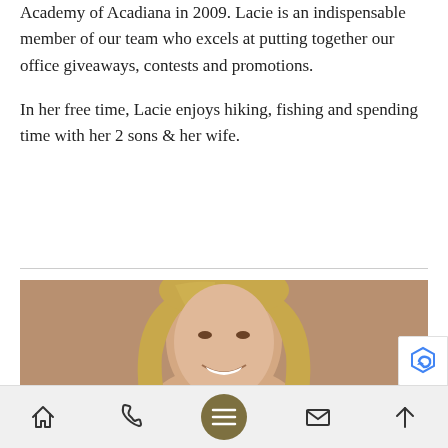Academy of Acadiana in 2009. Lacie is an indispensable member of our team who excels at putting together our office giveaways, contests and promotions.
In her free time, Lacie enjoys hiking, fishing and spending time with her 2 sons & her wife.
[Figure (photo): Headshot of a smiling blonde woman against a warm brown/taupe background]